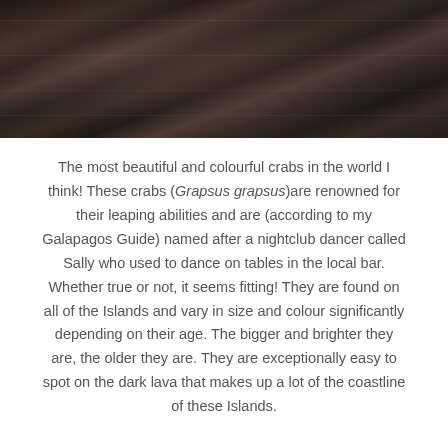[Figure (photo): Close-up photograph of dark textured lava rock surface, dark brown and black tones]
The most beautiful and colourful crabs in the world I think! These crabs (Grapsus grapsus)are renowned for their leaping abilities and are (according to my Galapagos Guide) named after a nightclub dancer called Sally who used to dance on tables in the local bar. Whether true or not, it seems fitting! They are found on all of the Islands and vary in size and colour significantly depending on their age. The bigger and brighter they are, the older they are. They are exceptionally easy to spot on the dark lava that makes up a lot of the coastline of these Islands.
#4 – Galapagos Giant Tortoise